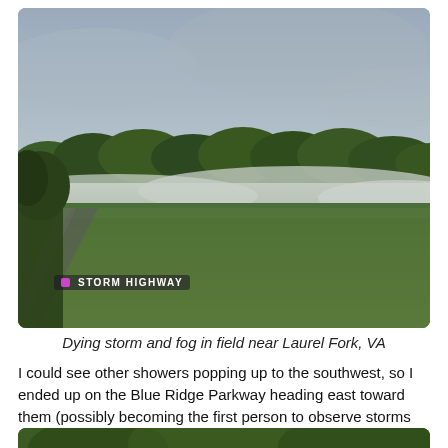[Figure (photo): A field near Laurel Fork, VA showing a dying storm with fog rolling across green grass fields. Trees are visible in the background under a hazy grey sky. A watermark reading 'STORM HIGHWAY' is visible in the lower left of the image.]
Dying storm and fog in field near Laurel Fork, VA
I could see other showers popping up to the southwest, so I ended up on the Blue Ridge Parkway heading east toward them (possibly becoming the first person to observe storms storms on the Parkway).
[Figure (photo): Bottom portion of another outdoor photo showing green trees, partially visible.]